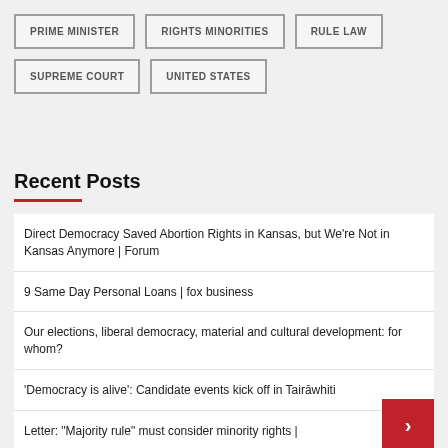PRIME MINISTER
RIGHTS MINORITIES
RULE LAW
SUPREME COURT
UNITED STATES
Recent Posts
Direct Democracy Saved Abortion Rights in Kansas, but We’re Not in Kansas Anymore | Forum
9 Same Day Personal Loans | fox business
Our elections, liberal democracy, material and cultural development: for whom?
‘Democracy is alive’: Candidate events kick off in Tairāwhiti
Letter: “Majority rule” must consider minority rights |